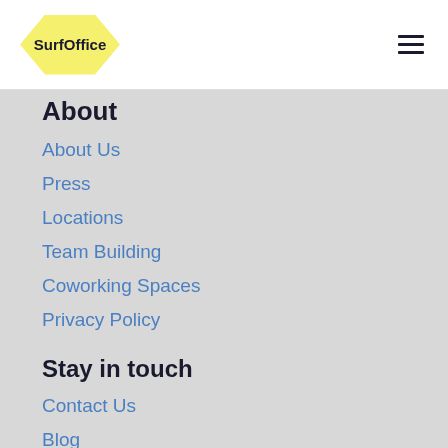[Figure (logo): SurfOffice logo: yellow hexagon shape with bold dark text 'SurfOffice' inside]
About
About Us
Press
Locations
Team Building
Coworking Spaces
Privacy Policy
Stay in touch
Contact Us
Blog
Podcast